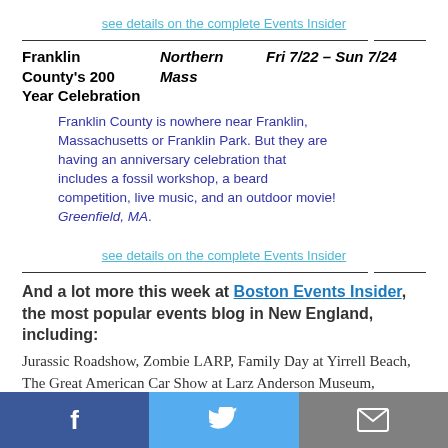see details on the complete Events Insider
| Event | Location | Date |
| --- | --- | --- |
| Franklin County's 200 Year Celebration | Northern Mass | Fri 7/22 – Sun 7/24 |
Franklin County is nowhere near Franklin, Massachusetts or Franklin Park. But they are having an anniversary celebration that includes a fossil workshop, a beard competition, live music, and an outdoor movie! Greenfield, MA.
see details on the complete Events Insider
And a lot more this week at Boston Events Insider, the most popular events blog in New England, including:
Jurassic Roadshow, Zombie LARP, Family Day at Yirrell Beach, The Great American Car Show at Larz Anderson Museum, Allston DIY Fest, ZooARTyssey, Oak Bluffs Monster Shark Tournament, Boomerang Clothing of the Splendid...
f  [twitter bird]  [mail]